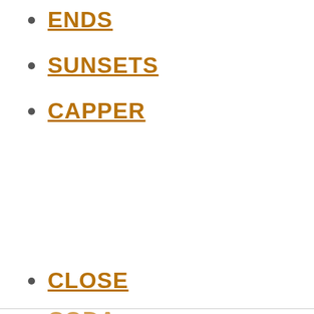ENDS
SUNSETS
CAPPER
CLOSE
CODA